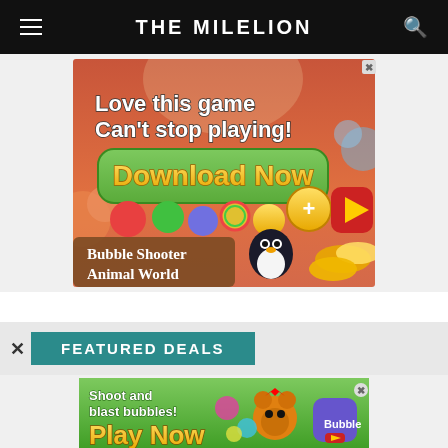THE MILELION
[Figure (illustration): Mobile game advertisement for 'Bubble Shooter Animal World'. Orange/red gradient background with game bubbles and characters. Text reads: 'Love this game Can't stop playing! Download Now'. Shows a penguin, game coins, and a play button icon with a + symbol.]
[Figure (illustration): Mobile game advertisement banner at bottom. Text reads: 'Shoot and blast bubbles! Play Now'. Shows a bear character and 'Bubble Shooter Animal World' branding with play button.]
FEATURED DEALS